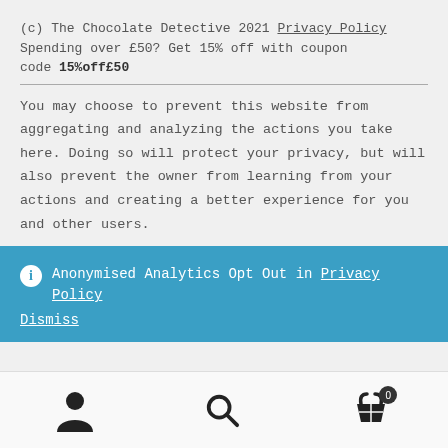(c) The Chocolate Detective 2021 Privacy Policy
Spending over £50? Get 15% off with coupon code 15%off£50
You may choose to prevent this website from aggregating and analyzing the actions you take here. Doing so will protect your privacy, but will also prevent the owner from learning from your actions and creating a better experience for you and other users.
ⓘ Anonymised Analytics Opt Out in Privacy Policy
Dismiss
[Figure (infographic): Bottom navigation bar with person/account icon, search magnifying glass icon, and shopping cart icon with badge showing 0]